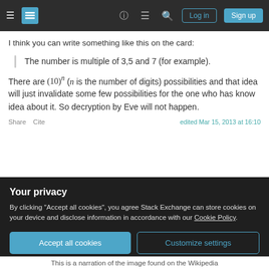Stack Exchange navigation bar with Log in and Sign up buttons
I think you can write something like this on the card:
The number is multiple of 3,5 and 7 (for example).
There are (10)^n (n is the number of digits) possibilities and that idea will just invalidate some few possibilities for the one who has know idea about it. So decryption by Eve will not happen.
Share  Cite                    edited Mar 15, 2013 at 16:10
Your privacy
By clicking "Accept all cookies", you agree Stack Exchange can store cookies on your device and disclose information in accordance with our Cookie Policy.
Accept all cookies  Customize settings
This is a narration of the image found on the Wikipedia